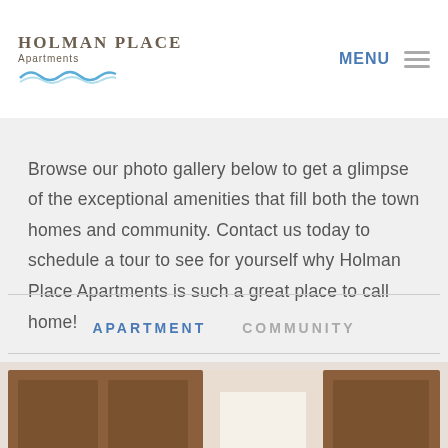Holman Place Apartments – MENU
Browse our photo gallery below to get a glimpse of the exceptional amenities that fill both the town homes and community. Contact us today to schedule a tour to see for yourself why Holman Place Apartments is such a great place to call home!
APARTMENT   COMMUNITY
[Figure (photo): Interior photo of apartment showing wooden cabinet doors and a hallway]